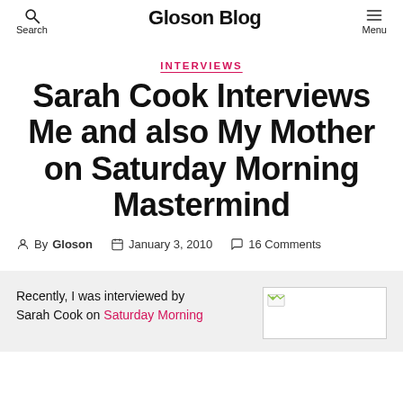Search  Gloson Blog  Menu
INTERVIEWS
Sarah Cook Interviews Me and also My Mother on Saturday Morning Mastermind
By Gloson   January 3, 2010   16 Comments
Recently, I was interviewed by Sarah Cook on Saturday Morning
[Figure (photo): Placeholder image with broken image icon]